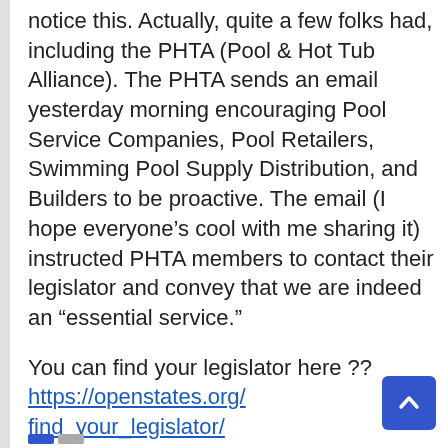notice this. Actually, quite a few folks had, including the PHTA (Pool & Hot Tub Alliance). The PHTA sends an email yesterday morning encouraging Pool Service Companies, Pool Retailers, Swimming Pool Supply Distribution, and Builders to be proactive. The email (I hope everyone's cool with me sharing it) instructed PHTA members to contact their legislator and convey that we are indeed an “essential service.”
You can find your legislator here ?? https://openstates.org/find_your_legislator/